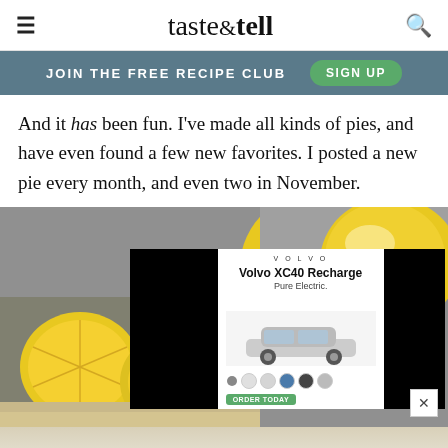taste & tell
JOIN THE FREE RECIPE CLUB   SIGN UP
And it has been fun. I've made all kinds of pies, and have even found a few new favorites. I posted a new pie every month, and even two in November.
[Figure (photo): Photo of lemon slices and a whole lemon with an advertisement overlay for Volvo XC40 Recharge Pure Electric car overlaid on top.]